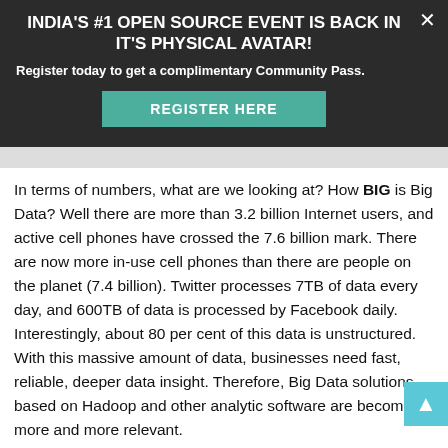[Figure (screenshot): Faint engineering/architecture diagram visible behind banner overlay]
INDIA'S #1 OPEN SOURCE EVENT IS BACK IN IT'S PHYSICAL AVATAR!
Register today to get a complimentary Community Pass.
REGISTER HERE
In terms of numbers, what are we looking at? How BIG is Big Data? Well there are more than 3.2 billion Internet users, and active cell phones have crossed the 7.6 billion mark. There are now more in-use cell phones than there are people on the planet (7.4 billion). Twitter processes 7TB of data every day, and 600TB of data is processed by Facebook daily. Interestingly, about 80 per cent of this data is unstructured. With this massive amount of data, businesses need fast, reliable, deeper data insight. Therefore, Big Data solutions based on Hadoop and other analytic software are becoming more and more relevant.